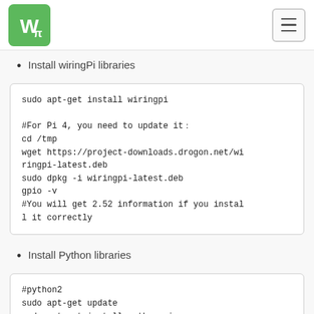Waveshare logo and navigation
Install wiringPi libraries
sudo apt-get install wiringpi

#For Pi 4, you need to update it
cd /tmp
wget https://project-downloads.drogon.net/wiringpi-latest.deb
sudo dpkg -i wiringpi-latest.deb
gpio -v
#You will get 2.52 information if you install it correctly
Install Python libraries
#python2
sudo apt-get update
sudo apt-get install python-pip